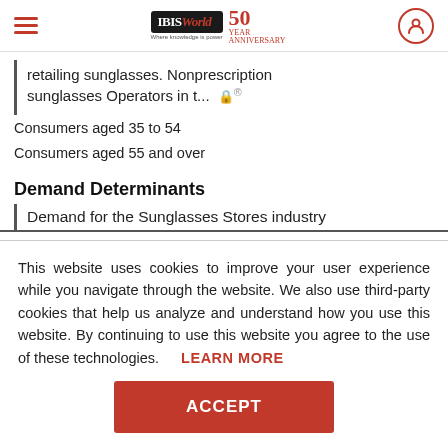IBISWorld 50th Anniversary
retailing sunglasses. Nonprescription sunglasses Operators in t... [locked] Consumers aged 35 to 54 Consumers aged 55 and over
Demand Determinants
Demand for the Sunglasses Stores industry
This website uses cookies to improve your user experience while you navigate through the website. We also use third-party cookies that help us analyze and understand how you use this website. By continuing to use this website you agree to the use of these technologies. LEARN MORE
ACCEPT